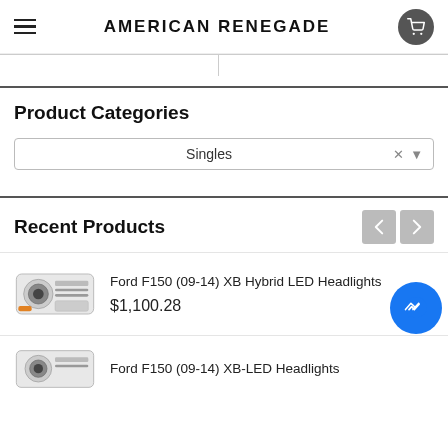American Renegade
Product Categories
Singles
Recent Products
Ford F150 (09-14) XB Hybrid LED Headlights $1,100.28
Ford F150 (09-14) XB-LED Headlights